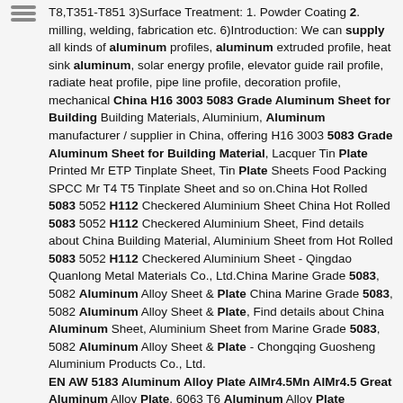[Figure (other): Hamburger menu icon with three horizontal lines]
T8,T351-T851 3)Surface Treatment: 1. Powder Coating 2. milling, welding, fabrication etc. 6)Introduction: We can supply all kinds of aluminum profiles, aluminum extruded profile, heat sink aluminum, solar energy profile, elevator guide rail profile, radiate heat profile, pipe line profile, decoration profile, mechanical China H16 3003 5083 Grade Aluminum Sheet for Building Building Materials, Aluminium, Aluminum manufacturer / supplier in China, offering H16 3003 5083 Grade Aluminum Sheet for Building Material, Lacquer Tin Plate Printed Mr ETP Tinplate Sheet, Tin Plate Sheets Food Packing SPCC Mr T4 T5 Tinplate Sheet and so on.China Hot Rolled 5083 5052 H112 Checkered Aluminium Sheet China Hot Rolled 5083 5052 H112 Checkered Aluminium Sheet, Find details about China Building Material, Aluminium Sheet from Hot Rolled 5083 5052 H112 Checkered Aluminium Sheet - Qingdao Quanlong Metal Materials Co., Ltd.China Marine Grade 5083, 5082 Aluminum Alloy Sheet & Plate China Marine Grade 5083, 5082 Aluminum Alloy Sheet & Plate, Find details about China Aluminum Sheet, Aluminium Sheet from Marine Grade 5083, 5082 Aluminum Alloy Sheet & Plate - Chongqing Guosheng Aluminium Products Co., Ltd. EN AW 5183 Aluminum Alloy Plate AlMr4.5Mn AlMr4.5 Great Aluminum Alloy Plate. 6063 T6 Aluminum Alloy Plate Thickness 6mm 1250mmt2500mm Stock Size, 5083 L54 En Aw 5083